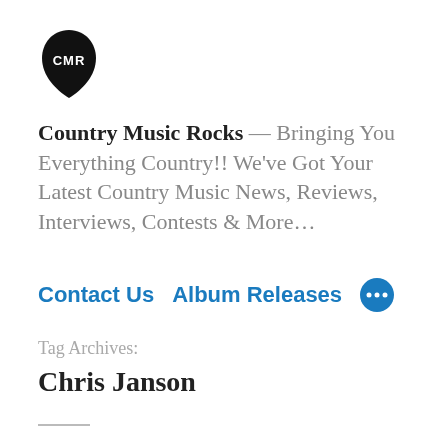[Figure (logo): CMR guitar pick logo — black guitar pick shape with white text 'CMR' inside]
Country Music Rocks — Bringing You Everything Country!! We've Got Your Latest Country Music News, Reviews, Interviews, Contests & More…
Contact Us   Album Releases   •••
Tag Archives:
Chris Janson